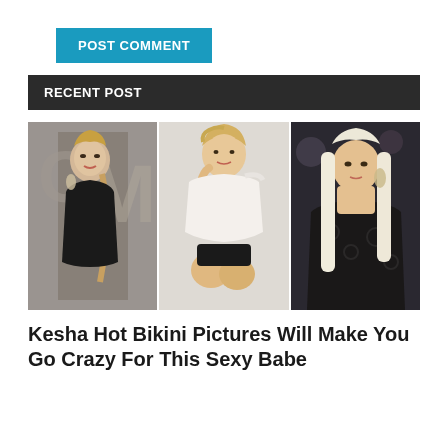POST COMMENT
RECENT POST
[Figure (photo): Three side-by-side photos of Kesha: left photo shows her in a black leather outfit with a braided ponytail at an MTV event; center photo shows her in a white off-shoulder sweater sitting on the floor; right photo shows her with long platinum blonde hair wearing a black lace dress.]
Kesha Hot Bikini Pictures Will Make You Go Crazy For This Sexy Babe